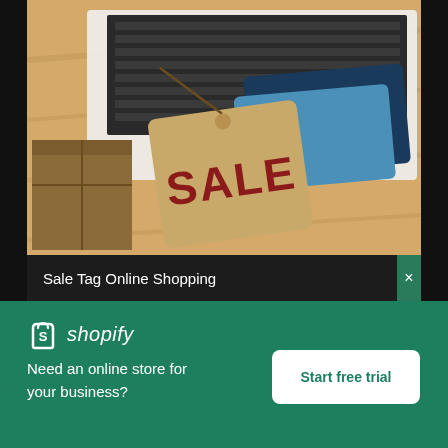[Figure (photo): Photo of a sale price tag on a wooden surface next to a wrapped gift box, a laptop keyboard, and two credit cards. The tag reads SALE in red letters.]
Sale Tag Online Shopping
[Figure (logo): Shopify logo: a white shopping bag icon with the letter S, followed by italic text 'shopify' in white]
Need an online store for your business?
Start free trial